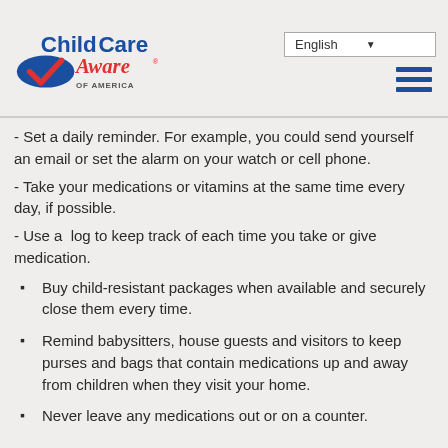ChildCare Aware of America | English
- Set a daily reminder. For example, you could send yourself an email or set the alarm on your watch or cell phone.
- Take your medications or vitamins at the same time every day, if possible.
- Use a  log to keep track of each time you take or give medication.
Buy child-resistant packages when available and securely close them every time.
Remind babysitters, house guests and visitors to keep purses and bags that contain medications up and away from children when they visit your home.
Never leave any medications out or on a counter.